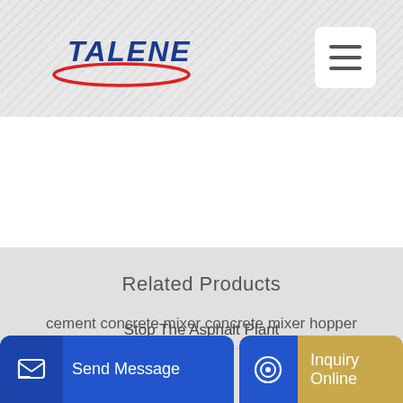[Figure (logo): TALENET company logo with blue italic text and red elliptical swoosh underneath]
Related Products
Stop The Asphalt Plant
cement concrete mixer concrete mixer hopper
Send Message
Inquiry Online